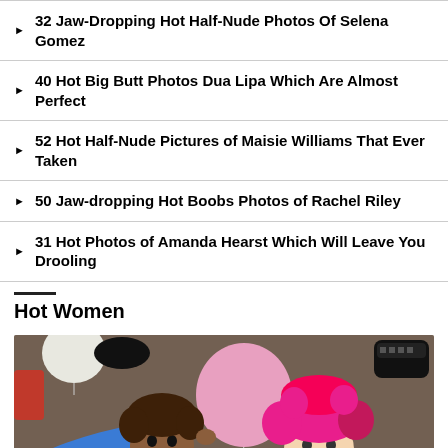32 Jaw-Dropping Hot Half-Nude Photos Of Selena Gomez
40 Hot Big Butt Photos Dua Lipa Which Are Almost Perfect
52 Hot Half-Nude Pictures of Maisie Williams That Ever Taken
50 Jaw-dropping Hot Boobs Photos of Rachel Riley
31 Hot Photos of Amanda Hearst Which Will Leave You Drooling
Hot Women
[Figure (photo): Two people lying on the floor smiling, one with curly hair holding a pink balloon, the other with bright pink hair, surrounded by colorful balloons.]